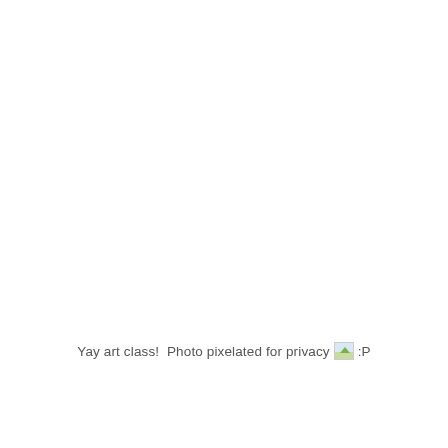Yay art class!  Photo pixelated for privacy :P